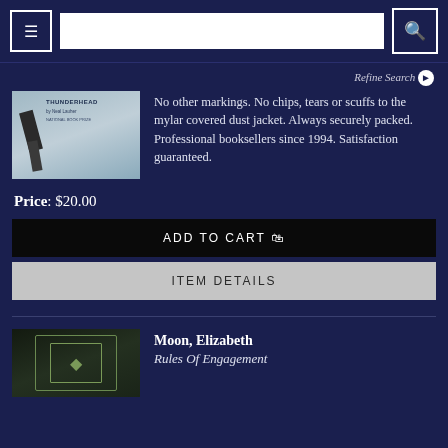Navigation bar with menu button, search input, and search button
Refine Search ▶
[Figure (photo): Book cover thumbnail for Thunderhead by Neal Lauher]
No other markings. No chips, tears or scuffs to the mylar covered dust jacket. Always securely packed. Professional booksellers since 1994. Satisfaction guaranteed.
Price: $20.00
ADD TO CART 🛒
ITEM DETAILS
[Figure (photo): Dark book cover thumbnail with geometric art deco design]
Moon, Elizabeth
Rules Of Engagement